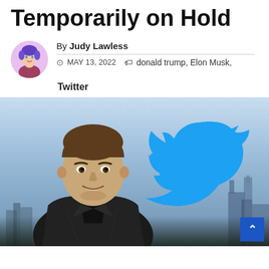Temporarily on Hold
By Judy Lawless  ©️  MAY 13, 2022  🏷️  donald trump, Elon Musk, Twitter
[Figure (photo): Photo of Elon Musk smiling in a dark blazer with the Twitter bird logo overlaid on the right side, city skyline in the background. Also includes a scroll-to-top button in the bottom right corner.]